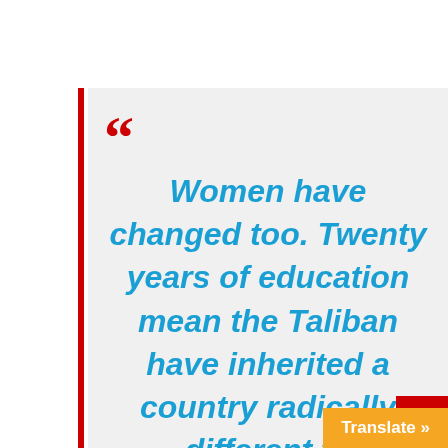Women have changed too. Twenty years of education mean the Taliban have inherited a country radically different to…